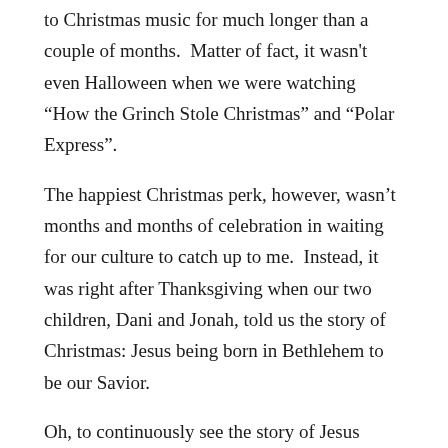to Christmas music for much longer than a couple of months.  Matter of fact, it wasn't even Halloween when we were watching “How the Grinch Stole Christmas” and “Polar Express”.
The happiest Christmas perk, however, wasn’t months and months of celebration in waiting for our culture to catch up to me.  Instead, it was right after Thanksgiving when our two children, Dani and Jonah, told us the story of Christmas: Jesus being born in Bethlehem to be our Savior.
Oh, to continuously see the story of Jesus through the eyes of a child.  May we capture the wonder over the next twelve days (You do know that Christmas is actually a twelve-day celebration and that’s why